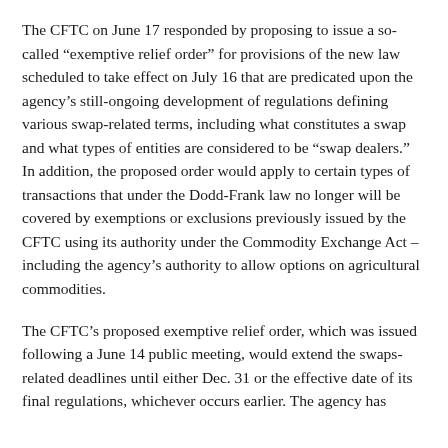The CFTC on June 17 responded by proposing to issue a so-called “exemptive relief order” for provisions of the new law scheduled to take effect on July 16 that are predicated upon the agency’s still-ongoing development of regulations defining various swap-related terms, including what constitutes a swap and what types of entities are considered to be “swap dealers.” In addition, the proposed order would apply to certain types of transactions that under the Dodd-Frank law no longer will be covered by exemptions or exclusions previously issued by the CFTC using its authority under the Commodity Exchange Act – including the agency’s authority to allow options on agricultural commodities.
The CFTC’s proposed exemptive relief order, which was issued following a June 14 public meeting, would extend the swaps-related deadlines until either Dec. 31 or the effective date of its final regulations, whichever occurs earlier. The agency has